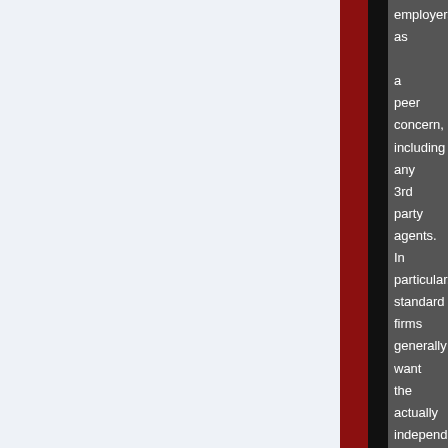employers as a peer concern, including any 3rd party agents. In particular, standard firms generally want the actually independent worker to show insurance and